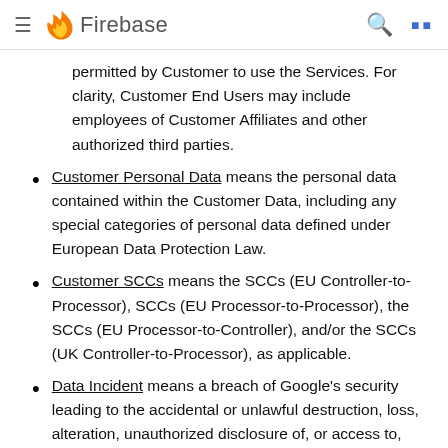Firebase
permitted by Customer to use the Services. For clarity, Customer End Users may include employees of Customer Affiliates and other authorized third parties.
Customer Personal Data means the personal data contained within the Customer Data, including any special categories of personal data defined under European Data Protection Law.
Customer SCCs means the SCCs (EU Controller-to-Processor), SCCs (EU Processor-to-Processor), the SCCs (EU Processor-to-Controller), and/or the SCCs (UK Controller-to-Processor), as applicable.
Data Incident means a breach of Google's security leading to the accidental or unlawful destruction, loss, alteration, unauthorized disclosure of, or access to, Customer Personal Data on systems managed by or otherwise controlled by Google.